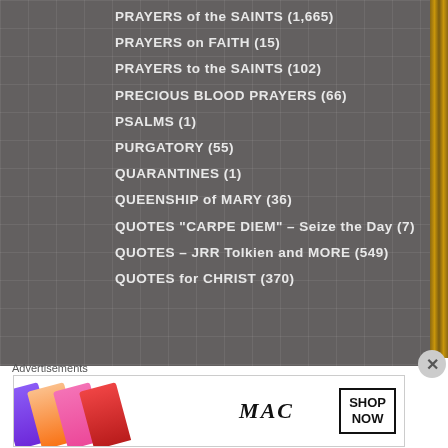PRAYERS of the SAINTS (1,665)
PRAYERS on FAITH (15)
PRAYERS to the SAINTS (102)
PRECIOUS BLOOD PRAYERS (66)
PSALMS (1)
PURGATORY (55)
QUARANTINES (1)
QUEENSHIP of MARY (36)
QUOTES "CARPE DIEM" – Seize the Day (7)
QUOTES – JRR Tolkien and MORE (549)
QUOTES for CHRIST (370)
Advertisements
[Figure (photo): MAC cosmetics advertisement showing lipsticks in purple, peach, pink and red colors, MAC logo, and SHOP NOW button]